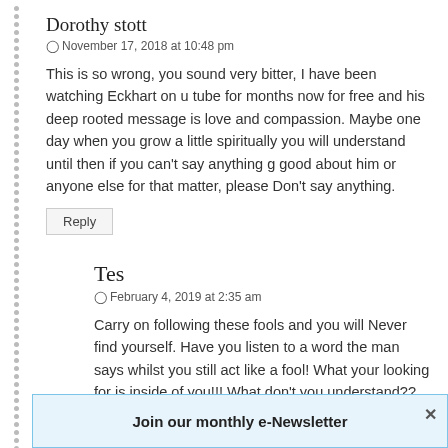Dorothy stott
November 17, 2018 at 10:48 pm
This is so wrong, you sound very bitter, I have been watching Eckhart on u tube for months now for free and his deep rooted message is love and compassion. Maybe one day when you grow a little spiritually you will understand until then if you can't say anything g good about him or anyone else for that matter, please Don't say anything.
Reply
Tes
February 4, 2019 at 2:35 am
Carry on following these fools and you will Never find yourself. Have you listen to a word the man says whilst you still act like a fool! What your looking for is inside of you!!! What don't you understand?? Why is everyone paying this man for what?
Reply
Join our monthly e-Newsletter